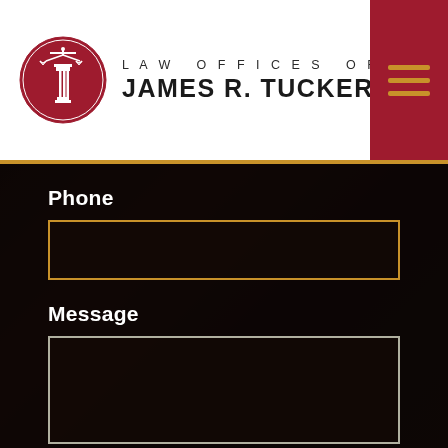[Figure (logo): Law Offices of James R. Tucker, P.C. logo with circular emblem featuring scales of justice and a pillar]
Phone
Message